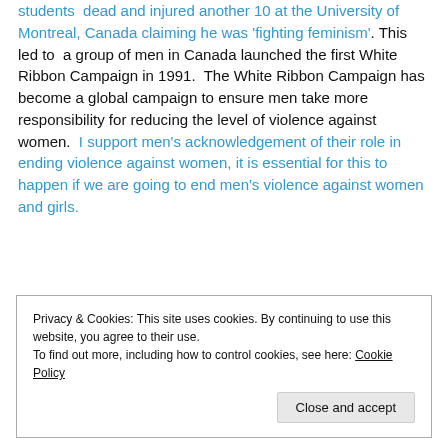On 6  December 1989, Marc Lepine shot 14 female students  dead and injured another 10 at the University of Montreal, Canada claiming he was 'fighting feminism'. This led to  a group of men in Canada launched the first White Ribbon Campaign in 1991.  The White Ribbon Campaign has become a global campaign to ensure men take more responsibility for reducing the level of violence against women.  I support men's acknowledgement of their role in ending violence against women, it is essential for this to happen if we are going to end men's violence against women and girls.
Privacy & Cookies: This site uses cookies. By continuing to use this website, you agree to their use.
To find out more, including how to control cookies, see here: Cookie Policy